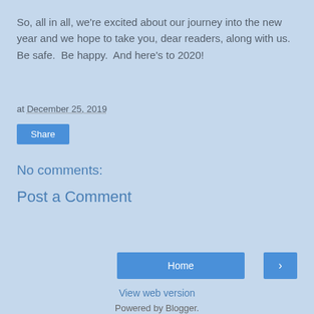So, all in all, we're excited about our journey into the new year and we hope to take you, dear readers, along with us. Be safe.  Be happy.  And here's to 2020!
at December 25, 2019
Share
No comments:
Post a Comment
Home
›
View web version
Powered by Blogger.